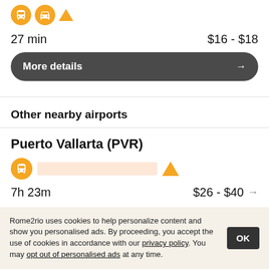[Figure (infographic): Transport mode icons: orange circle with bus icon, orange circle with car icon, orange triangle shape]
27 min   $16 - $18
[Figure (other): Dark rounded button labeled 'More details' with right arrow]
Other nearby airports
Puerto Vallarta (PVR)
[Figure (infographic): Route bar: orange bus icon circle, salmon/peach colored bar, orange warning triangle]
7h 23m   $26 - $40 →
San Jose Cabo (SJD)
Rome2rio uses cookies to help personalize content and show you personalised ads. By proceeding, you accept the use of cookies in accordance with our privacy policy. You may opt out of personalised ads at any time.